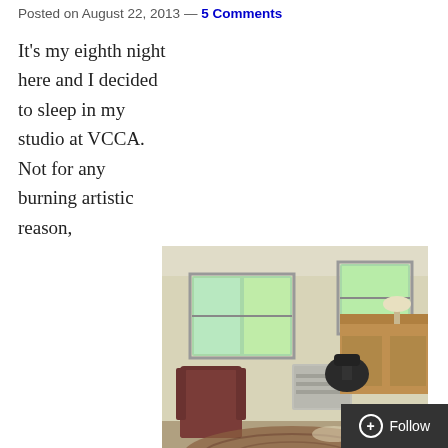Posted on August 22, 2013 — 5 Comments
It's my eighth night here and I decided to sleep in my studio at VCCA. Not for any burning artistic reason,
[Figure (photo): Interior of a studio space with windows, a recliner chair, a desk, office chair, and a wooden chair. Natural light comes through multiple windows showing green foliage outside.]
My Studio
you understand. I'm not someone who writes poetry into the wee small hours; in fact mornings are my most productive time. But my studio is a lovely space, while my bedroom is just a room with a bed in it, and r